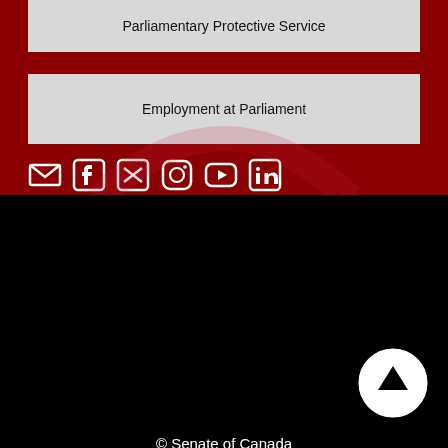Parliamentary Protective Service
Employment at Parliament
[Figure (illustration): Row of social media icons: email, Facebook, Twitter, Instagram, YouTube, LinkedIn on dark red background]
© Senate of Canada
Important Notices
Intellectual Property
For Media
eNewsletter